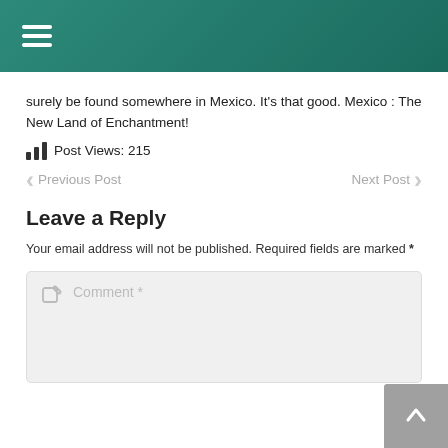Navigation menu header bar
surely be found somewhere in Mexico. It’s that good. Mexico : The New Land of Enchantment!
Post Views: 215
Previous Post
Next Post
Leave a Reply
Your email address will not be published. Required fields are marked *
Comment *